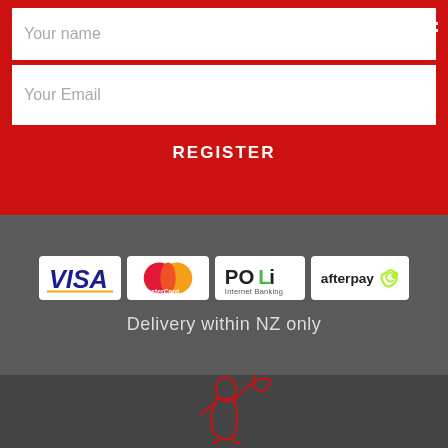Your name
Your Email
REGISTER
[Figure (logo): Payment method logos: VISA, MasterCard, POLi Internet Banking, afterpay]
Delivery within NZ only
[Figure (illustration): Red outline illustration of a cricket player batting, on dark grey background]